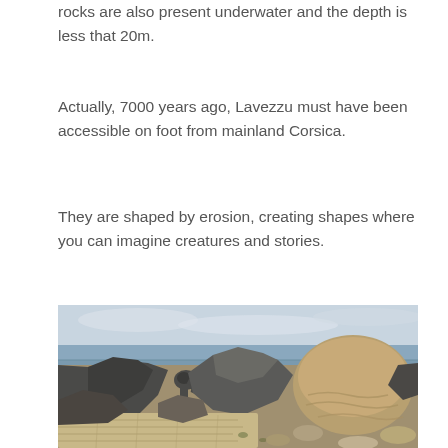rocks are also present underwater and the depth is less that 20m.
Actually, 7000 years ago, Lavezzu must have been accessible on foot from mainland Corsica.
They are shaped by erosion, creating shapes where you can imagine creatures and stories.
[Figure (photo): Photograph of large granite rock formations on a coastal landscape near Lavezzu, Corsica, with the sea visible in the background under a cloudy sky. The rocks show various sizes and erosion patterns, with some smooth rounded boulders and layered flat stones in the foreground.]